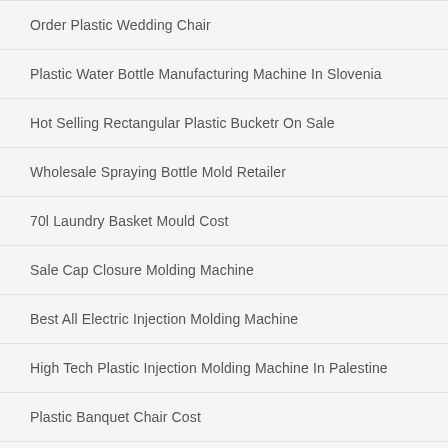Order Plastic Wedding Chair
Plastic Water Bottle Manufacturing Machine In Slovenia
Hot Selling Rectangular Plastic Bucketr On Sale
Wholesale Spraying Bottle Mold Retailer
70l Laundry Basket Mould Cost
Sale Cap Closure Molding Machine
Best All Electric Injection Molding Machine
High Tech Plastic Injection Molding Machine In Palestine
Plastic Banquet Chair Cost